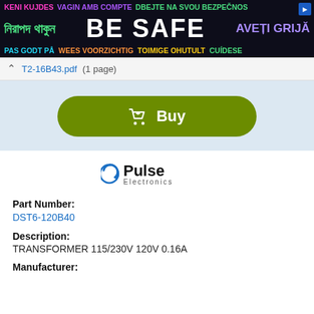[Figure (infographic): Multilingual safety banner advertisement with 'BE SAFE' in large white text, surrounded by safety phrases in multiple languages and colors on a dark background]
T2-16B43.pdf (1 page)
[Figure (infographic): Green rounded Buy button with shopping cart icon]
[Figure (logo): Pulse Electronics logo with circular arrow icon]
Part Number:
DST6-120B40
Description:
TRANSFORMER 115/230V 120V 0.16A
Manufacturer: